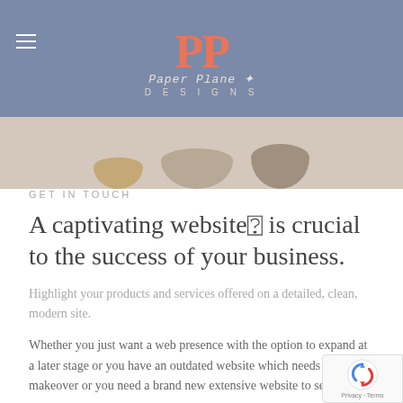[Figure (logo): Paper Plane Designs logo with hamburger menu. Large coral/salmon PP letters, script text 'Paper Plane' below, and 'DESIGNS' in spaced capitals. Blue-gray header background.]
[Figure (photo): Partial photo strip showing decorative bowls/ceramics on a surface, cropped at top.]
GET IN TOUCH
A captivating website✦ is crucial to the success of your business.
Highlight your products and services offered on a detailed, clean, modern site.
Whether you just want a web presence with the option to expand at a later stage or you have an outdated website which needs a makeover or you need a brand new extensive website to serve your